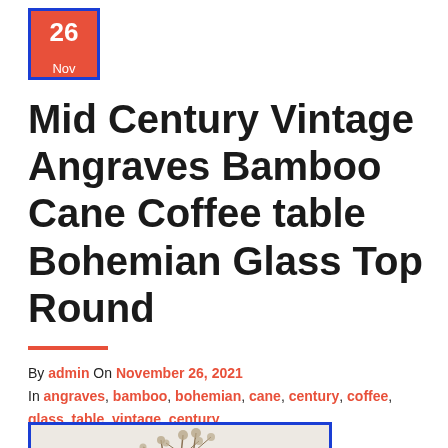[Figure (other): Calendar date badge showing 26 Nov with red background and blue border]
Mid Century Vintage Angraves Bamboo Cane Coffee table Bohemian Glass Top Round
By admin On November 26, 2021 In angraves, bamboo, bohemian, cane, century, coffee, glass, table, vintage, century
[Figure (photo): Photo of dried botanical branches/flowers in a vase against a light background, with blue border]